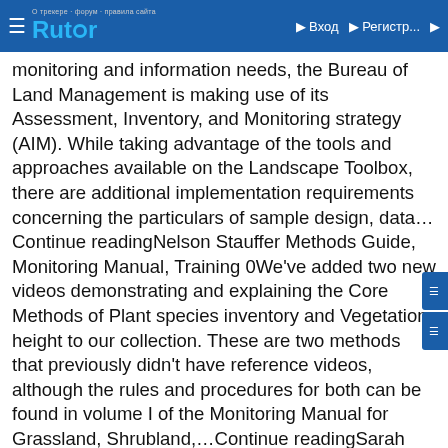Rutor | Вход | Регистр...
monitoring and information needs, the Bureau of Land Management is making use of its Assessment, Inventory, and Monitoring strategy (AIM). While taking advantage of the tools and approaches available on the Landscape Toolbox, there are additional implementation requirements concerning the particulars of sample design, data…Continue readingNelson Stauffer Methods Guide, Monitoring Manual, Training 0We've added two new videos demonstrating and explaining the Core Methods of Plant species inventory and Vegetation height to our collection. These are two methods that previously didn't have reference videos, although the rules and procedures for both can be found in volume I of the Monitoring Manual for Grassland, Shrubland,…Continue readingSarah McCord Methods Guide, Monitoring Manual, Training 0Question: Are succulents counted as a woody species when measuring vegetation heights? Answer: Yes. Succulent plant species are considered to be woody in contrast to herbaceous because their function is more similar to woody vegetation than herbaceous vegetation in many applications of these data. From a wildlife viewpoint: Some succulents are… Continue readingNelson